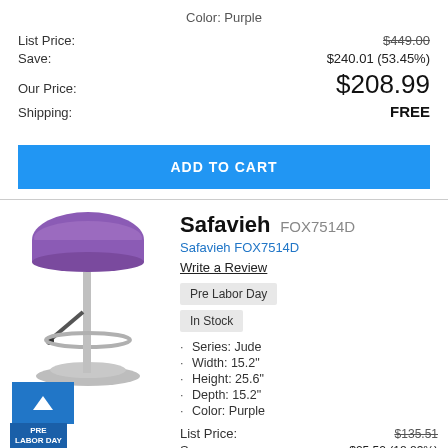Color: Purple
| List Price: | $449.00 |
| Save: | $240.01 (53.45%) |
| Our Price: | $208.99 |
| Shipping: | FREE |
ADD TO CART
[Figure (photo): Purple round seat bar stool with chrome adjustable pedestal base and footrest ring]
Safavieh FOX7514D
Safavieh FOX7514D
Write a Review
Pre Labor Day
In Stock
Series: Jude
Width: 15.2"
Height: 25.6"
Depth: 15.2"
Color: Purple
| List Price: | $135.51 |
| Save: | $25.52 (18.83%) |